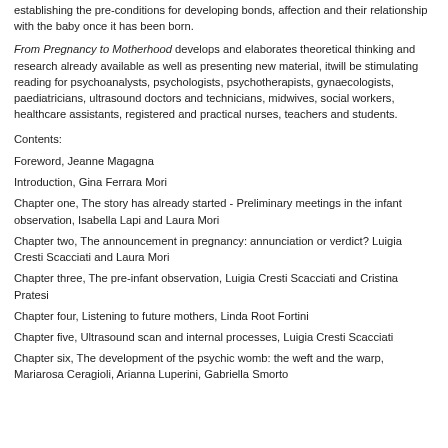establishing the pre-conditions for developing bonds, affection and their relationship with the baby once it has been born.
From Pregnancy to Motherhood develops and elaborates theoretical thinking and research already available as well as presenting new material, itwill be stimulating reading for psychoanalysts, psychologists, psychotherapists, gynaecologists, paediatricians, ultrasound doctors and technicians, midwives, social workers, healthcare assistants, registered and practical nurses, teachers and students.
Contents:
Foreword, Jeanne Magagna
Introduction, Gina Ferrara Mori
Chapter one, The story has already started - Preliminary meetings in the infant observation, Isabella Lapi and Laura Mori
Chapter two, The announcement in pregnancy: annunciation or verdict? Luigia Cresti Scacciati and Laura Mori
Chapter three, The pre-infant observation, Luigia Cresti Scacciati and Cristina Pratesi
Chapter four, Listening to future mothers, Linda Root Fortini
Chapter five, Ultrasound scan and internal processes, Luigia Cresti Scacciati
Chapter six, The development of the psychic womb: the weft and the warp, Mariarosa Ceragioli, Arianna Luperini, Gabriella Smorto